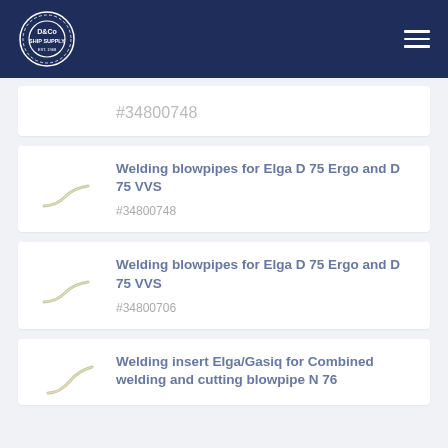D&Co Ship Supply
#34800748 (partial, cut off at top)
Welding blowpipes for Elga D 75 Ergo and D 75 VVS
#34800748
Welding blowpipes for Elga D 75 Ergo and D 75 VVS
#34800706
Welding insert Elga/Gasiq for Combined welding and cutting blowpipe N 76